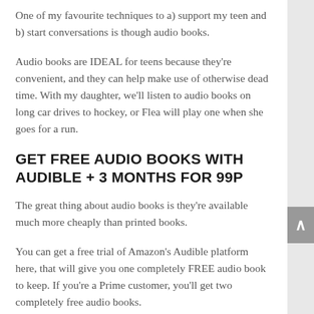One of my favourite techniques to a) support my teen and b) start conversations is though audio books.
Audio books are IDEAL for teens because they're convenient, and they can help make use of otherwise dead time. With my daughter, we'll listen to audio books on long car drives to hockey, or Flea will play one when she goes for a run.
GET FREE AUDIO BOOKS WITH AUDIBLE + 3 MONTHS FOR 99P
The great thing about audio books is they're available much more cheaply than printed books.
You can get a free trial of Amazon's Audible platform here, that will give you one completely FREE audio book to keep. If you're a Prime customer, you'll get two completely free audio books.